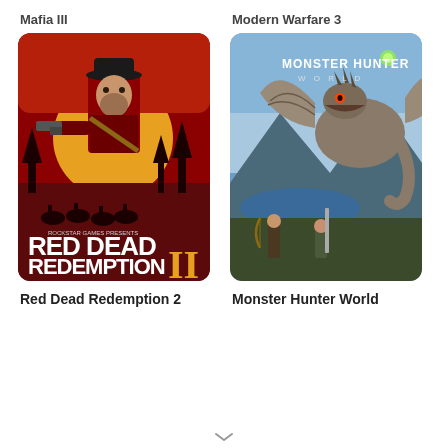Mafia III
Modern Warfare 3
[Figure (illustration): Red Dead Redemption 2 game cover art showing a cowboy with a gun against a red sunset background with Rockstar Games branding]
[Figure (illustration): Monster Hunter World game cover art showing hunters battling a large winged monster against a mountainous landscape with MONSTER HUNTER WORLD logo]
Red Dead Redemption 2
Monster Hunter World